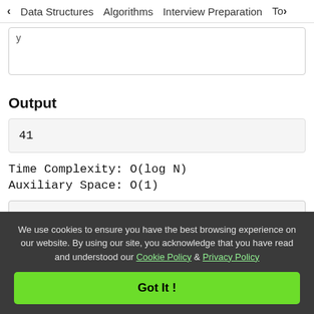< Data Structures   Algorithms   Interview Preparation   To>
y
Output
41
Time Complexity: O(log N)
Auxiliary Space: O(1)
We use cookies to ensure you have the best browsing experience on our website. By using our site, you acknowledge that you have read and understood our Cookie Policy & Privacy Policy
Got It !